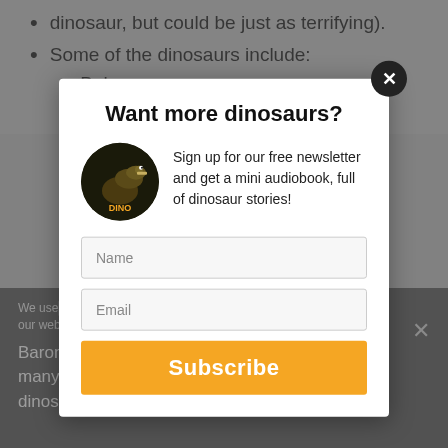dinosaur, but could be just as terrifying).
Some of the dinosaurs include:
Balaur
Bradycneme
Want more dinosaurs?
Sign up for our free newsletter and get a mini audiobook, full of dinosaur stories!
[Figure (illustration): Circular logo/image of a dinosaur (T-Rex style) with text DINO on dark background]
Name
Email
Subscribe
We use ... ence on our web ... hat you
Baron Franz N... althy man with many interests... ered a lot of dinosaur analysis and theories, and was one
Ok